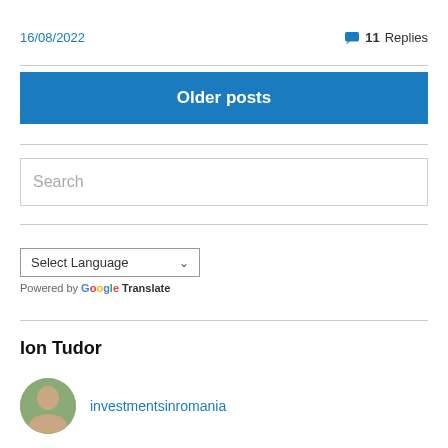16/08/2022
11 Replies
Older posts
[Figure (other): Search input box with placeholder text 'Search']
Select Language
Powered by Google Translate
Ion Tudor
investmentsinromania